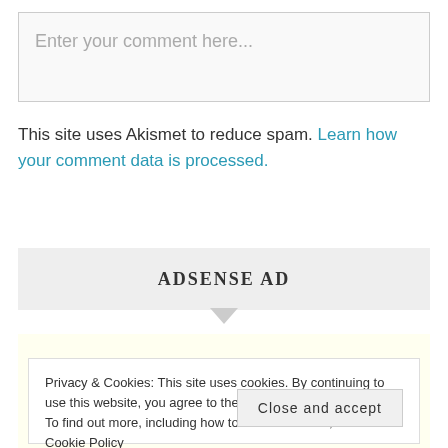[Figure (other): Comment text input box with placeholder text 'Enter your comment here...']
This site uses Akismet to reduce spam. Learn how your comment data is processed.
[Figure (other): AdSense ad placeholder block with label 'ADSENSE AD' and downward arrow below]
Privacy & Cookies: This site uses cookies. By continuing to use this website, you agree to their use. To find out more, including how to control cookies, see here: Cookie Policy
Close and accept